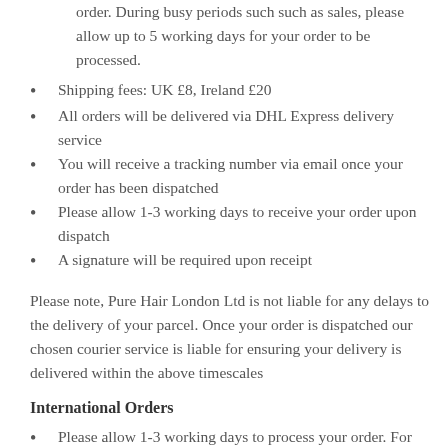order. During busy periods such such as sales, please allow up to 5 working days for your order to be processed.
Shipping fees: UK £8, Ireland £20
All orders will be delivered via DHL Express delivery service
You will receive a tracking number via email once your order has been dispatched
Please allow 1-3 working days to receive your order upon dispatch
A signature will be required upon receipt
Please note, Pure Hair London Ltd is not liable for any delays to the delivery of your parcel. Once your order is dispatched our chosen courier service is liable for ensuring your delivery is delivered within the above timescales
International Orders
Please allow 1-3 working days to process your order. For